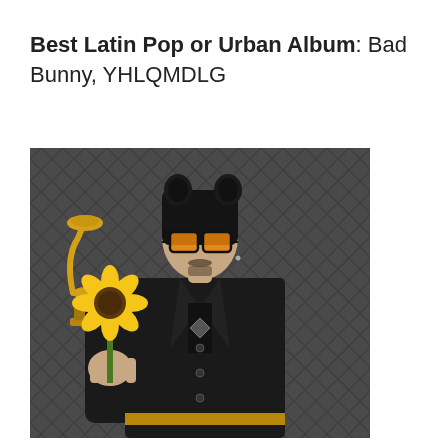Best Latin Pop or Urban Album: Bad Bunny, YHLQMDLG
[Figure (photo): Bad Bunny wearing a black outfit with a black fuzzy hat with ears and orange-tinted sunglasses, holding a sunflower, standing in front of a Grammy backdrop]